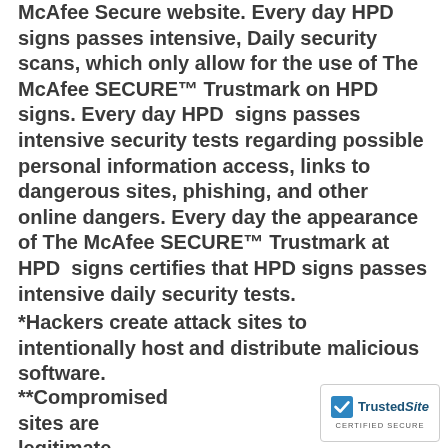McAfee Secure website. Every day HPD signs passes intensive, Daily security scans, which only allow for the use of The McAfee SECURE™ Trustmark on HPD signs. Every day HPD signs passes intensive security tests regarding possible personal information access, links to dangerous sites, phishing, and other online dangers. Every day the appearance of The McAfee SECURE™ Trustmark at HPD signs certifies that HPD signs passes intensive daily security tests.
*Hackers create attack sites to intentionally host and distribute malicious software.
**Compromised sites are legitimate sites that are hacked to include content from attack sites.
[Figure (logo): TrustedSite CERTIFIED SECURE badge with blue checkmark]